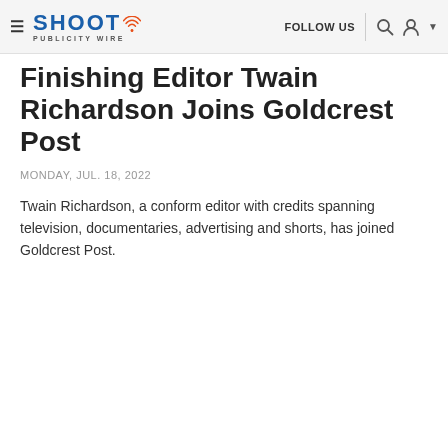SHOOT PUBLICITY WIRE | FOLLOW US
Finishing Editor Twain Richardson Joins Goldcrest Post
MONDAY, JUL. 18, 2022
Twain Richardson, a conform editor with credits spanning television, documentaries, advertising and shorts, has joined Goldcrest Post.